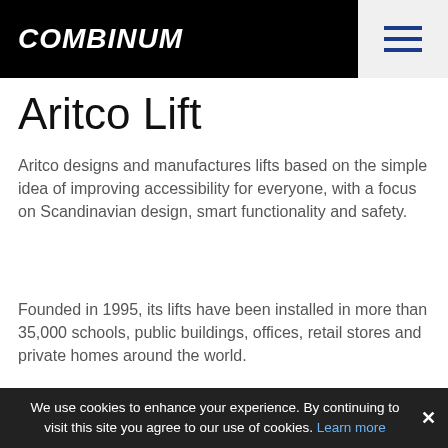COMBINUM
Aritco Lift
Aritco designs and manufactures lifts based on the simple idea of improving accessibility for everyone, with a focus on Scandinavian design, smart functionality and safety.
Founded in 1995, its lifts have been installed in more than 35,000 schools, public buildings, offices, retail stores and private homes around the world.
Aritco is revolutionizing the lift industry with an award-winning mix of efficiency and aesthetics. In 2016, it launched the all-new Aritco HomeLift, winning the Red Dot Product Award
We use cookies to enhance your experience. By continuing to visit this site you agree to our use of cookies. Learn more